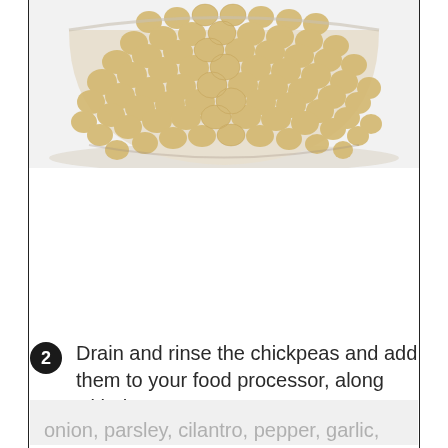[Figure (photo): A bowl filled with dried chickpeas (garbanzo beans), viewed from above at an angle, on a white background. The bowl is partially visible, showing the rounded bottom packed with small, round, pale yellow legumes.]
2 Drain and rinse the chickpeas and add them to your food processor, along with the
onion, parsley, cilantro, pepper, garlic,